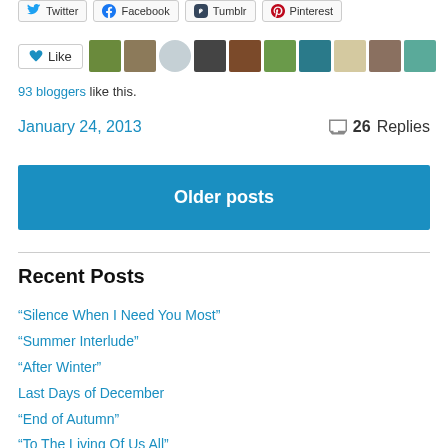[Figure (screenshot): Social share buttons: Twitter, Facebook, Tumblr, Pinterest]
[Figure (screenshot): Like button and 10 blogger avatar thumbnails]
93 bloggers like this.
January 24, 2013
💬 26 Replies
Older posts
Recent Posts
“Silence When I Need You Most”
“Summer Interlude”
“After Winter”
Last Days of December
“End of Autumn”
“To The Living Of Us All”
“The Audacity of a Man Who Once Was Blind”